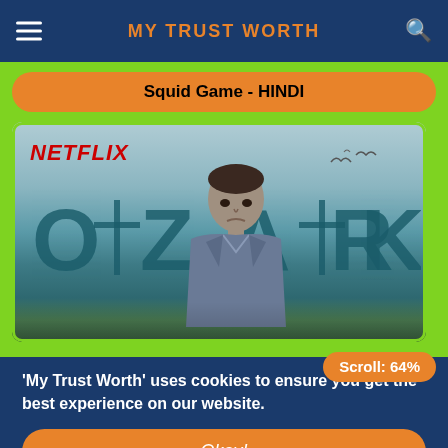MY TRUST WORTH
Squid Game - HINDI
[Figure (screenshot): Netflix Ozark promotional banner showing the word OZARK in large teal letters with a man standing in front and Netflix logo in red top-left, birds in the sky]
Scroll: 64%
'My Trust Worth' uses cookies to ensure you get the best experience on our website.
Okay!